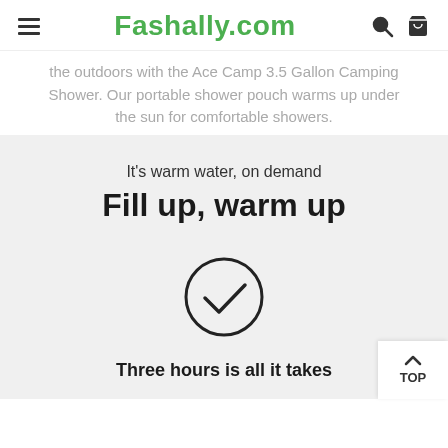Fashally.com
the outdoors with the Ace Camp 3.5 Gallon Camping Shower. Our portable shower pouch warms up under the sun for comfortable showers.
It's warm water, on demand
Fill up, warm up
[Figure (illustration): Circle with a checkmark inside]
Three hours is all it takes